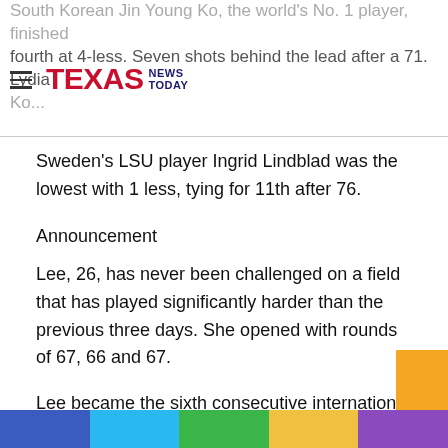South Korean Jin Young Ko, the world's No. 1 player, finished fourth at 4-less. Seven shots behind the lead after a 71. Lydia Ko...
TEXAS NEWS TODAY
Sweden's LSU player Ingrid Lindblad was the lowest with 1 less, tying for 11th after 76.
Announcement
Lee, 26, has never been challenged on a field that has played significantly harder than the previous three days. She opened with rounds of 67, 66 and 67.
Lee became the sixth consecutive international player to win the US Women's Open and the first in Australia since mentoring Karrie Webb in 2001. It was her second major